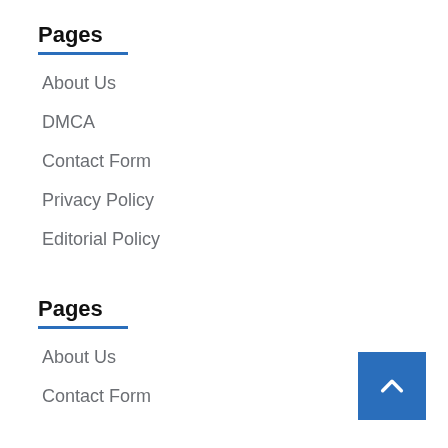Pages
About Us
DMCA
Contact Form
Privacy Policy
Editorial Policy
Pages
About Us
Contact Form